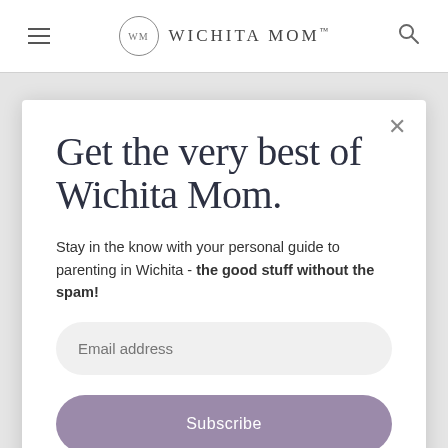WM WICHITA MOM™
Get the very best of Wichita Mom.
Stay in the know with your personal guide to parenting in Wichita - the good stuff without the spam!
Email address
Subscribe
a true destination for spending the day, bringing the whole crew, and creating memories you'll